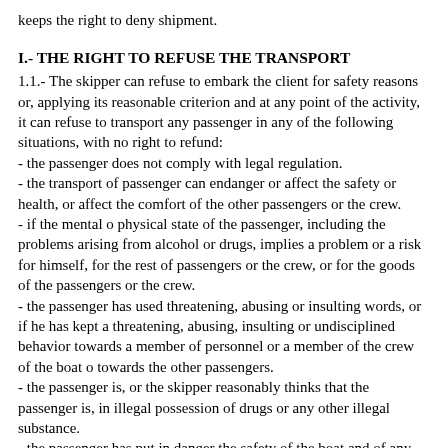keeps the right to deny shipment.
I.- THE RIGHT TO REFUSE THE TRANSPORT
1.1.- The skipper can refuse to embark the client for safety reasons or, applying its reasonable criterion and at any point of the activity, it can refuse to transport any passenger in any of the following situations, with no right to refund:
- the passenger does not comply with legal regulation.
- the transport of passenger can endanger or affect the safety or health, or affect the comfort of the other passengers or the crew.
- if the mental o physical state of the passenger, including the problems arising from alcohol or drugs, implies a problem or a risk for himself, for the rest of passengers or the crew, or for the goods of the passengers or the crew.
- the passenger has used threatening, abusing or insulting words, or if he has kept a threatening, abusing, insulting or undisciplined behavior towards a member of personnel or a member of the crew of the boat o towards the other passengers.
- the passenger is, or the skipper reasonably thinks that the passenger is, in illegal possession of drugs or any other illegal substance.
- the passenger has put in danger the safety of the boat and of any person on board.
- the passenger has committed a crime during any phase of the